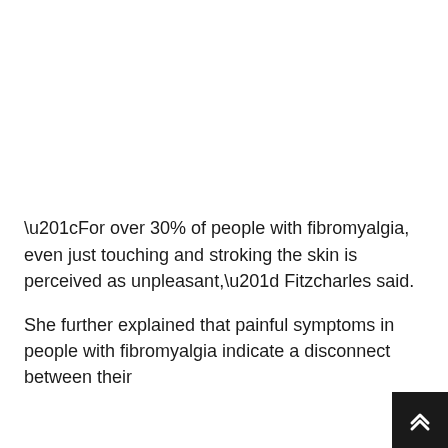“For over 30% of people with fibromyalgia, even just touching and stroking the skin is perceived as unpleasant,” Fitzcharles said.
She further explained that painful symptoms in people with fibromyalgia indicate a disconnect between their